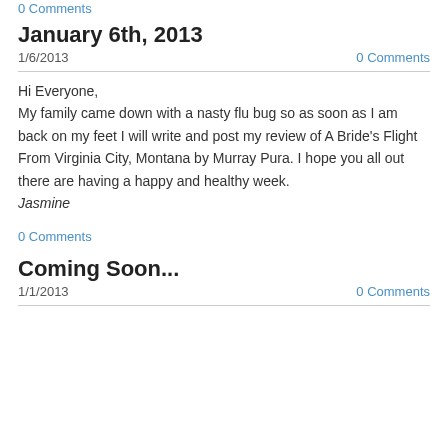0 Comments
January 6th, 2013
1/6/2013
0 Comments
Hi Everyone,
My family came down with a nasty flu bug so as soon as I am back on my feet I will write and post my review of A Bride's Flight From Virginia City, Montana by Murray Pura. I hope you all out there are having a happy and healthy week.
Jasmine
0 Comments
Coming Soon...
1/1/2013
0 Comments